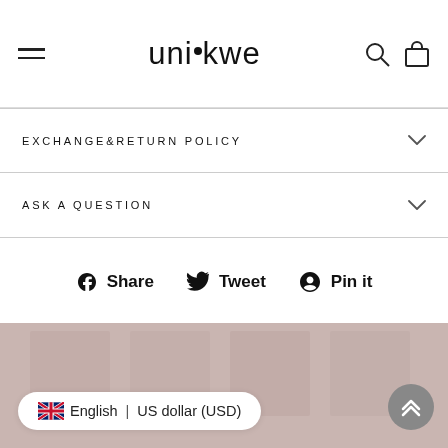unikwe
EXCHANGE&RETURN POLICY
ASK A QUESTION
f Share   Tweet   Pin it
[Figure (screenshot): Footer background section with muted rose/blush color, partially visible product images]
English | US dollar (USD)